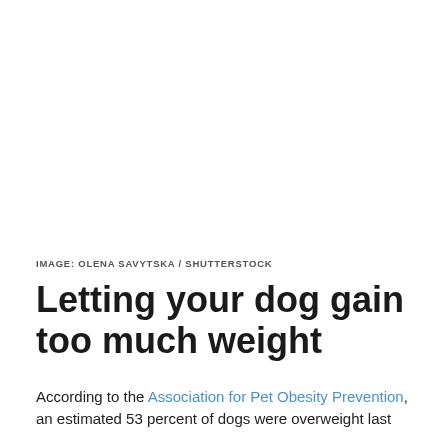[Figure (photo): Blank white image area placeholder for a dog photo credited to Olena Savytska / Shutterstock]
IMAGE: OLENA SAVYTSKA / SHUTTERSTOCK
Letting your dog gain too much weight
According to the Association for Pet Obesity Prevention, an estimated 53 percent of dogs were overweight last